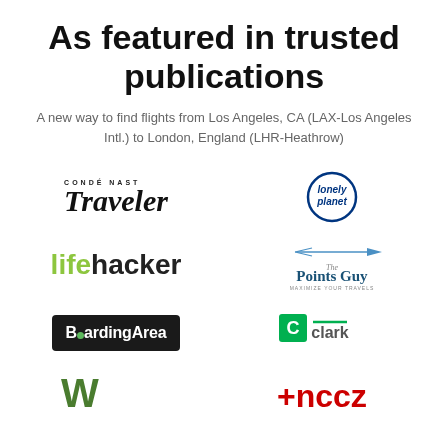As featured in trusted publications
A new way to find flights from Los Angeles, CA (LAX-Los Angeles Intl.) to London, England (LHR-Heathrow)
[Figure (logo): Condé Nast Traveler logo]
[Figure (logo): Lonely Planet logo]
[Figure (logo): Lifehacker logo]
[Figure (logo): The Points Guy logo]
[Figure (logo): BoardingArea logo]
[Figure (logo): Clark logo]
[Figure (logo): Partial logo bottom-left (partially visible)]
[Figure (logo): Partial logo bottom-right (partially visible, red cross/plus symbol)]